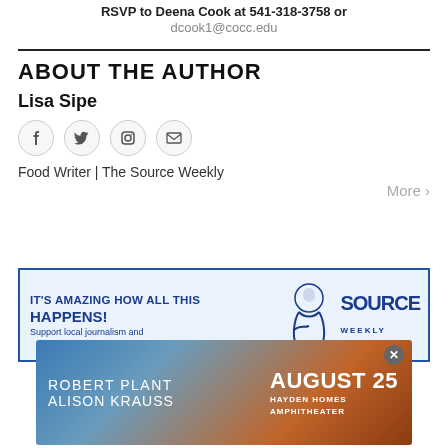RSVP to Deena Cook at 541-318-3758 or dcook1@cocc.edu
ABOUT THE AUTHOR
Lisa Sipe
[Figure (other): Social media icons: Facebook, Twitter, Instagram, Email]
Food Writer | The Source Weekly
More >
[Figure (other): Advertisement banner: IT'S AMAZING HOW ALL THIS HAPPENS! Support local journalism and — Source Weekly logo with cartoon figure]
[Figure (other): Overlay advertisement: Robert Plant / Alison Krauss — August 25 / Hayden Homes Amphitheater, with close button]